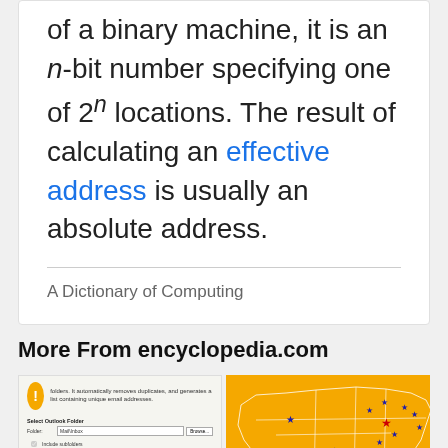of a binary machine, it is an n-bit number specifying one of 2n locations. The result of calculating an effective address is usually an absolute address.
A Dictionary of Computing
More From encyclopedia.com
[Figure (screenshot): Screenshot of a software interface for extracting email addresses from Outlook folders]
[Figure (map): Orange map of the United States with red and blue star markers indicating locations]